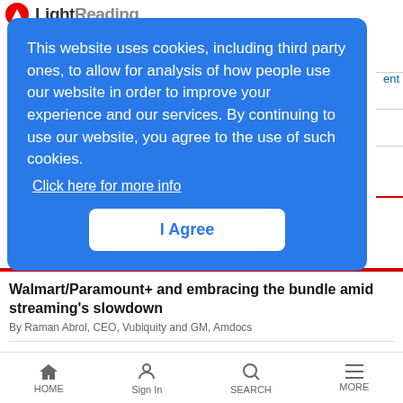LightReading
This website uses cookies, including third party ones, to allow for analysis of how people use our website in order to improve your experience and our services. By continuing to use our website, you agree to the use of such cookies.
Click here for more info
I Agree
Walmart/Paramount+ and embracing the bundle amid streaming's slowdown
By Raman Abrol, CEO, Vubiquity and GM, Amdocs
AT&T fiber: On track to cover more than 30M locations by the end of 2025
By Chris Sambar, EVP, AT&T Network
HOME  Sign In  SEARCH  MORE